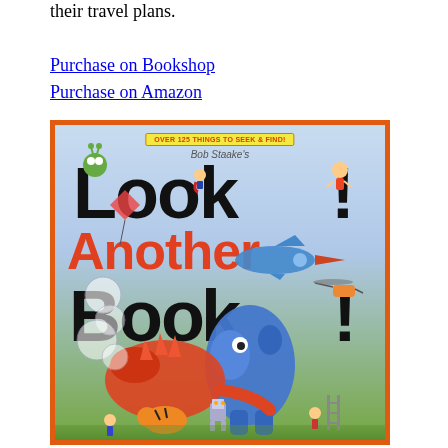their travel plans.
Purchase on Bookshop
Purchase on Amazon
[Figure (illustration): Book cover of 'Bob Staake's Look! Another Book!' — a colorful children's seek-and-find book cover with cartoon characters including a dinosaur, monster, airplane, and many small illustrated characters scattered across a light blue background. The title text 'Look! Another Book!' appears in large bold black letters with 'Another' in red/orange. A yellow banner at the top reads 'Over 125 Things to Seek & Find!']